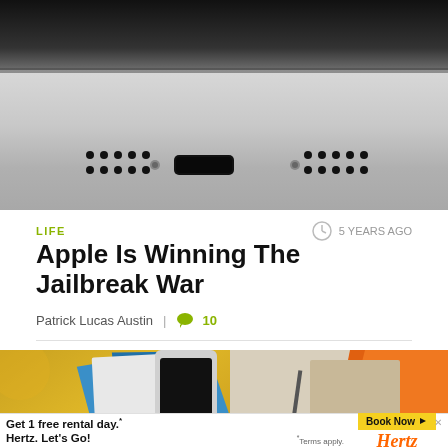[Figure (photo): Close-up photo of the bottom edge of an iPhone showing a Lightning port and speaker grilles on a dark background]
LIFE
5 YEARS AGO
Apple Is Winning The Jailbreak War
Patrick Lucas Austin  |  10
[Figure (photo): Overhead photo of a desk with a smartphone, tablet showing teal/cyan content, papers, a ruler, pencil, sticky note on a yellow and beige background]
[Figure (screenshot): Hertz advertisement banner: 'Get 1 free rental day.* Hertz. Let's Go!' with 'Book Now' button and Hertz logo, Terms apply.]